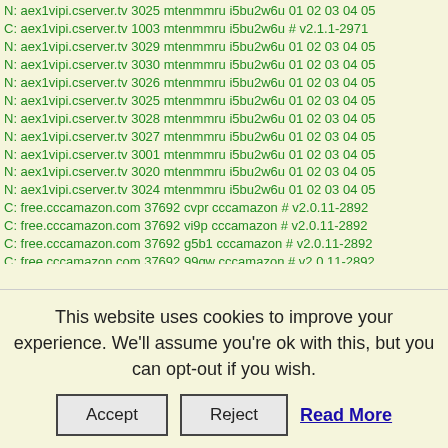N: aex1vipi.cserver.tv 3025 mtenmmru i5bu2w6u 01 02 03 04 05
C: aex1vipi.cserver.tv 1003 mtenmmru i5bu2w6u # v2.1.1-2971
N: aex1vipi.cserver.tv 3029 mtenmmru i5bu2w6u 01 02 03 04 05
N: aex1vipi.cserver.tv 3030 mtenmmru i5bu2w6u 01 02 03 04 05
N: aex1vipi.cserver.tv 3026 mtenmmru i5bu2w6u 01 02 03 04 05
N: aex1vipi.cserver.tv 3025 mtenmmru i5bu2w6u 01 02 03 04 05
N: aex1vipi.cserver.tv 3028 mtenmmru i5bu2w6u 01 02 03 04 05
N: aex1vipi.cserver.tv 3027 mtenmmru i5bu2w6u 01 02 03 04 05
N: aex1vipi.cserver.tv 3001 mtenmmru i5bu2w6u 01 02 03 04 05
N: aex1vipi.cserver.tv 3020 mtenmmru i5bu2w6u 01 02 03 04 05
N: aex1vipi.cserver.tv 3024 mtenmmru i5bu2w6u 01 02 03 04 05
C: free.cccamazon.com 37692 cvpr cccamazon # v2.0.11-2892
C: free.cccamazon.com 37692 vi9p cccamazon # v2.0.11-2892
C: free.cccamazon.com 37692 g5b1 cccamazon # v2.0.11-2892
C: free.cccamazon.com 37692 99qw cccamazon # v2.0.11-2892
C: free.cccamazon.com 37692 f3nj cccamazon # v2.0.11-2892
C: free.cccamazon.com 37692 b54e cccamazon # v2.0.11-2892
C: free.cccamazon.com 37692 yvw6 cccamazon # v2.0.11-2892
C: s2.cccamprime.com 13909 72917368 cccamprime # vr100rc1
C: free.cccamfrei.com 19575 f2ctl cccamfrei # v2.0.11-2892
C: free.cccamfrei.com 19575 y3vte cccamfrei # v2.0.11-2892
N: cccam.journalsat.com 24292 932475667 journalsat 01 02 03
C: serversat.net 24000 samym91.ms serversat.net # v2.1.3-3165
C: cccam-cs.casacam.net 18000 CCcam4uk www.cccam-cs.com
N: cardsharing-sat.freeddns.org 24601 20hdgy t.me/cardsharings
This website uses cookies to improve your experience. We'll assume you're ok with this, but you can opt-out if you wish.
Accept  Reject  Read More